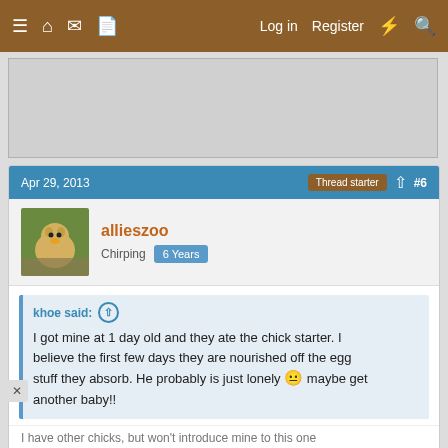≡ 🏠 💬 📄   Log in   Register  ⚡ 🔍
[Figure (other): Advertisement banner placeholder (gray rectangle)]
Apr 29, 2013   Thread starter  #6
allieszoo
Chirping  6 Years
khoe said: ↑
I got mine at 1 day old and they ate the chick starter. I believe the first few days they are nourished off the egg stuff they absorb. He probably is just lonely 😐 maybe get another baby!!
I have other chicks, but won't introduce mine to this one